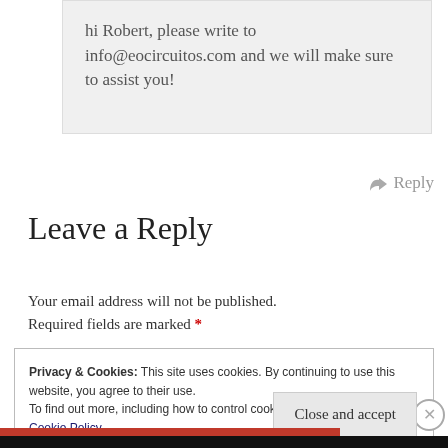hi Robert, please write to info@eocircuitos.com and we will make sure to assist you!
Reply
Leave a Reply
Your email address will not be published. Required fields are marked *
Privacy & Cookies: This site uses cookies. By continuing to use this website, you agree to their use.
To find out more, including how to control cookies, see here:
Cookie Policy
Close and accept